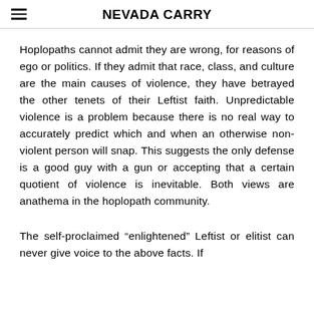NEVADA CARRY
Hoplopaths cannot admit they are wrong, for reasons of ego or politics. If they admit that race, class, and culture are the main causes of violence, they have betrayed the other tenets of their Leftist faith. Unpredictable violence is a problem because there is no real way to accurately predict which and when an otherwise non-violent person will snap. This suggests the only defense is a good guy with a gun or accepting that a certain quotient of violence is inevitable. Both views are anathema in the hoplopath community.
The self-proclaimed “enlightened” Leftist or elitist can never give voice to the above facts. If